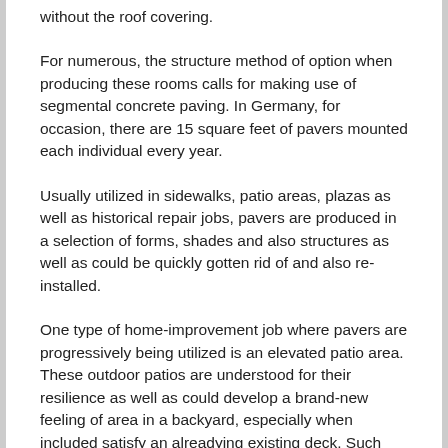without the roof covering.
For numerous, the structure method of option when producing these rooms calls for making use of segmental concrete paving. In Germany, for occasion, there are 15 square feet of pavers mounted each individual every year.
Usually utilized in sidewalks, patio areas, plazas as well as historical repair jobs, pavers are produced in a selection of forms, shades and also structures as well as could be quickly gotten rid of and also re-installed.
One type of home-improvement job where pavers are progressively being utilized is an elevated patio area. These outdoor patios are understood for their resilience as well as could develop a brand-new feeling of area in a backyard, especially when included satisfy an alreadying existing deck. Such rooms could be made use of as an outside amusement location, total with jacuzzi or bbq pit.